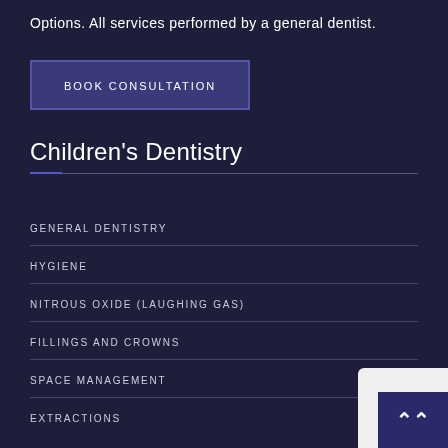Options. All services performed by a general dentist.
BOOK CONSULTATION
Children's Dentistry
GENERAL DENTISTRY
HYGIENE
NITROUS OXIDE (LAUGHING GAS)
FILLINGS AND CROWNS
SPACE MANAGEMENT
EXTRACTIONS